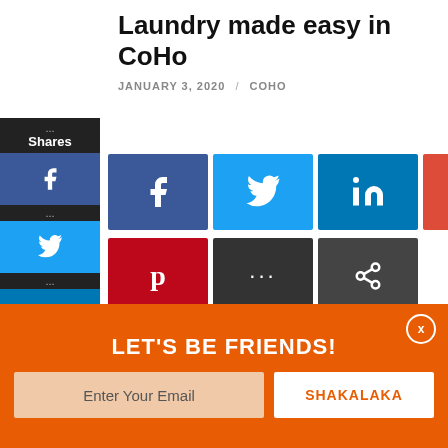Laundry made easy in CoHo
JANUARY 3, 2020 / COHO
[Figure (screenshot): Social media share buttons sidebar on the left (Facebook, Twitter, LinkedIn, Google+, StumbleUpon, Pinterest) and main share buttons grid showing Facebook, Twitter, LinkedIn, Google+, StumbleUpon, Pinterest, more, and share icons]
[Figure (illustration): Blurred colorful illustration showing laundry or community living scene with teal and colorful elements]
LET'S BE FRIENDS!
Enter Your Email
SHAKALAKA